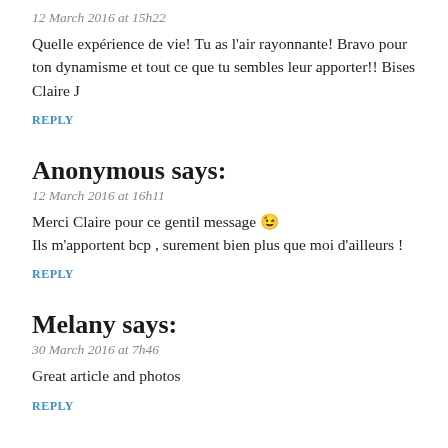12 March 2016 at 15h22
Quelle expérience de vie! Tu as l'air rayonnante! Bravo pour ton dynamisme et tout ce que tu sembles leur apporter!! Bises Claire J
REPLY
Anonymous says:
12 March 2016 at 16h11
Merci Claire pour ce gentil message 😉
Ils m'apportent bcp , surement bien plus que moi d'ailleurs !
REPLY
Melany says:
30 March 2016 at 7h46
Great article and photos
REPLY